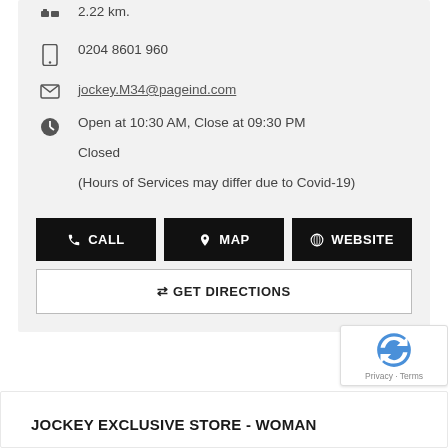2.22 km.
0204 8601 960
jockey.M34@pageind.com
Open at 10:30 AM, Close at 09:30 PM
Closed
(Hours of Services may differ due to Covid-19)
CALL
MAP
WEBSITE
GET DIRECTIONS
JOCKEY EXCLUSIVE STORE - WOMAN